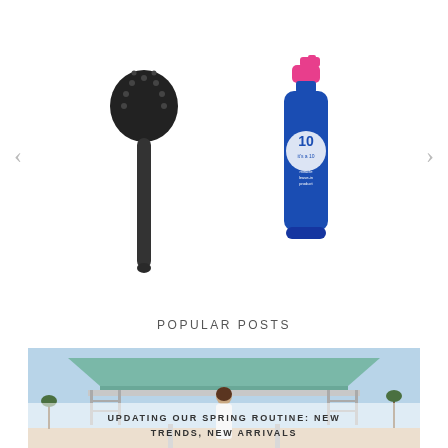[Figure (photo): Product carousel showing a black round hair brush and a blue It's a 10 hair spray bottle with pink cap, with left and right navigation arrows]
POPULAR POSTS
[Figure (photo): Woman in white outfit standing on a lifeguard tower at the beach, with semi-transparent overlay text reading UPDATING OUR SPRING ROUTINE: NEW TRENDS, NEW ARRIVALS]
UPDATING OUR SPRING ROUTINE: NEW TRENDS, NEW ARRIVALS